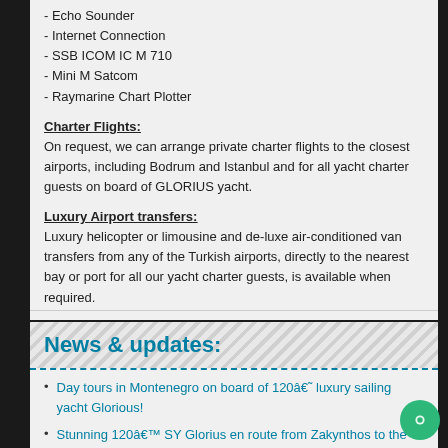- Echo Sounder
- Internet Connection
- SSB ICOM IC M 710
- Mini M Satcom
- Raymarine Chart Plotter
Charter Flights:
On request, we can arrange private charter flights to the closest airports, including Bodrum and Istanbul and for all yacht charter guests on board of GLORIUS yacht.
Luxury Airport transfers:
Luxury helicopter or limousine and de-luxe air-conditioned van transfers from any of the Turkish airports, directly to the nearest bay or port for all our yacht charter guests, is available when required.
News & updates:
Day tours in Montenegro on board of 120â€˜ luxury sailing yacht Glorious!
Stunning 120â€™ SY Glorius en route from Zakynthos to the Adriati